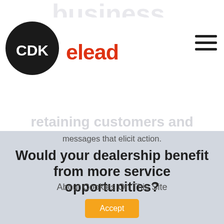[Figure (logo): CDK black circular logo with white CDK text, next to elead red brand text]
Sales: (855) 983-9470   Support: (877) 859-0195
Demo   Login
messages that elicit action.
Would your dealership benefit from more service opportunities?
About Cookies On This Site
Accept